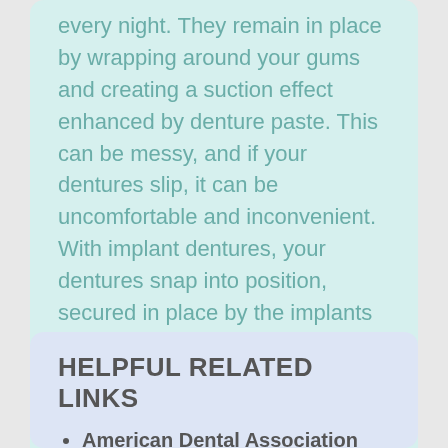every night. They remain in place by wrapping around your gums and creating a suction effect enhanced by denture paste. This can be messy, and if your dentures slip, it can be uncomfortable and inconvenient. With implant dentures, your dentures snap into position, secured in place by the implants themselves. Your new teeth will look natural and be entirely secure, adding further enjoyment to your daily life. To learn more about this procedure, call 757-776-0254. We will be happy to meet with you and discuss all your options.
HELPFUL RELATED LINKS
American Dental Association (ADA). Glossary of Dental Terms. 2015